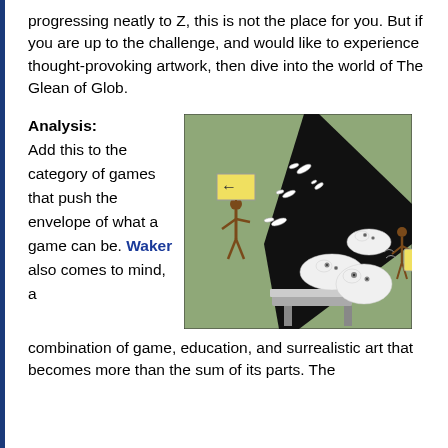progressing neatly to Z, this is not the place for you. But if you are up to the challenge, and would like to experience thought-provoking artwork, then dive into the world of The Glean of Glob.
Analysis: Add this to the category of games that push the envelope of what a game can be. Waker also comes to mind, a combination of game, education, and surrealistic art that becomes more than the sum of its parts. The
[Figure (illustration): A surrealistic game screenshot showing a green background with a large black diagonal shape, white blob-like figures with eyes, bird-like shapes, a stick figure holding a yellow sign with a left arrow, and a brown figure holding a yellow bag.]